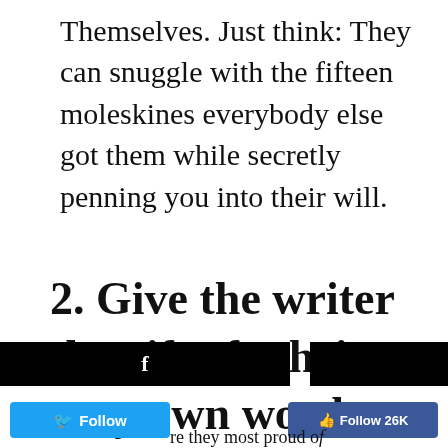Themselves. Just think: They can snuggle with the fifteen moleskines everybody else got them while secretly penning you into their will.
2. Give the writer the gift of...their very own words.
[Figure (screenshot): Facebook share bar (black background with white f icon) and a black bar on the right; Twitter Follow button and Facebook Follow 26K button at the bottom]
re they most proud of